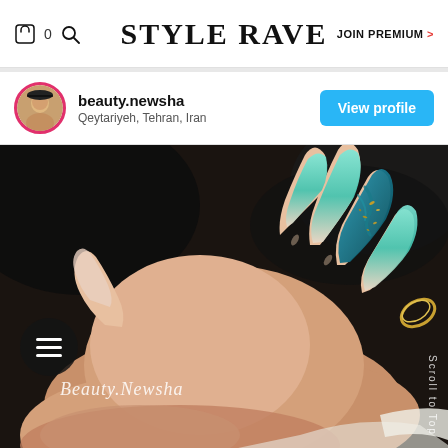STYLE RAVE | JOIN PREMIUM >
beauty.newsha
Qeytariyeh, Tehran, Iran
View profile
[Figure (photo): Close-up photo of a hand with long almond-shaped nails featuring turquoise/teal nail art with gold accents and a marble effect on one nail. The BeautyNewsha watermark is visible. A dark circular menu button with three horizontal lines is on the left side. 'Scroll to Top' text appears vertically on the right edge.]